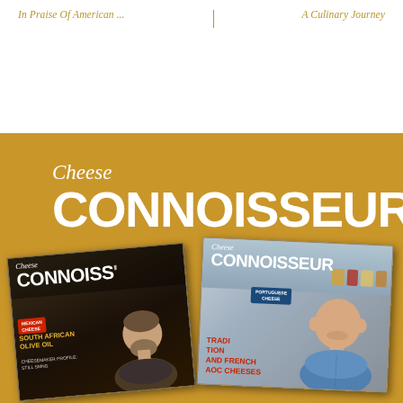In Praise Of American ... | A Culinary Journey
[Figure (illustration): Advertisement for Cheese Connoisseur magazine showing the logo 'Cheese CONNOISSEUR' in white text on a golden/mustard yellow background, with two magazine covers displayed below featuring men on the covers. Left cover shows a bearded man with text 'Mexican Cheese', 'South African Olive Oil', 'Cheesemaker Profile'. Right cover shows a bald smiling man with text 'Portuguese Cheese', 'Tradition and French AOC Cheeses'.]